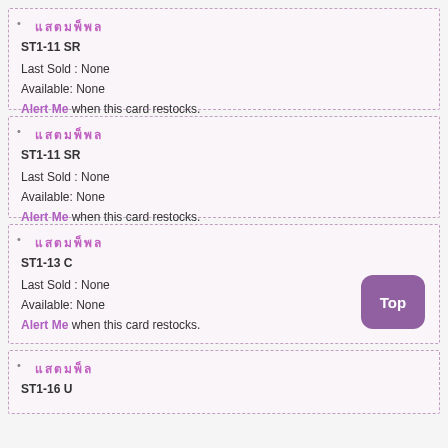ST1-11 SR | Last Sold: None | Available: None | Alert Me when this card restocks.
ST1-11 SR | Last Sold: None | Available: None | Alert Me when this card restocks.
ST1-13 C | Last Sold: None | Available: None | Alert Me when this card restocks.
ST1-16 U